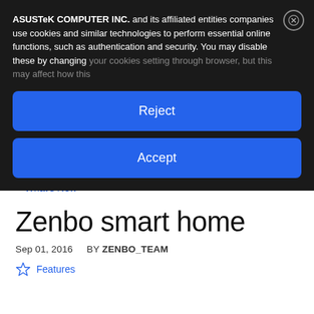ASUSTeK COMPUTER INC. and its affiliated entities companies use cookies and similar technologies to perform essential online functions, such as authentication and security. You may disable these by changing your cookies setting through browser, but this may affect how this
Reject
Accept
< What's New
Zenbo smart home
Sep 01, 2016  BY ZENBO_TEAM
Features